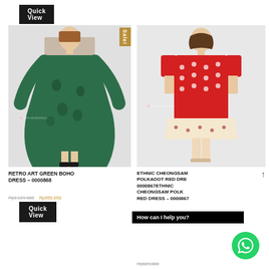[Figure (photo): Quick View button at top left on dark background]
[Figure (photo): Model wearing Retro Art Green Boho Dress - left product image with Sale! badge]
[Figure (photo): Model wearing Ethnic Cheongsam Polkadot Red Dress - right product image]
RETRO ART GREEN BOHO DRESS – 0000868
Rp1,129,000  Rp959,650
[Figure (screenshot): Quick View button]
ETHNIC CHEONGSAM POLKADOT RED DRESS – 0000867ETHNIC CHEONGSAM POLKADOT RED DRESS – 0000867
How can I help you?
Rp829,000